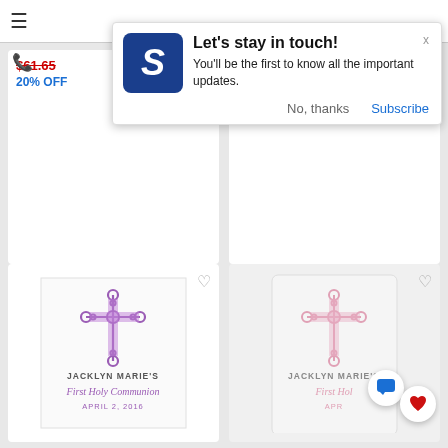[Figure (screenshot): Mobile website screenshot with notification popup and product grid]
Let's stay in touch!
You'll be the first to know all the important updates.
No, thanks   Subscribe
$61.65 20% OFF
Wont $63.18 20% OFF
[Figure (photo): White square napkin with purple ornate cross and text: JACKLYN MARIE'S First Holy Communion APRIL 2, 2016]
[Figure (photo): White frosted cup with pink ornate cross and partial text: JACKLYN MARIE'S First Holy...]